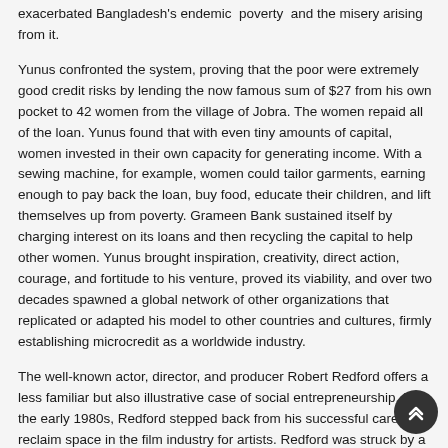exacerbated Bangladesh's endemic poverty and the misery arising from it.
Yunus confronted the system, proving that the poor were extremely good credit risks by lending the now famous sum of $27 from his own pocket to 42 women from the village of Jobra. The women repaid all of the loan. Yunus found that with even tiny amounts of capital, women invested in their own capacity for generating income. With a sewing machine, for example, women could tailor garments, earning enough to pay back the loan, buy food, educate their children, and lift themselves up from poverty. Grameen Bank sustained itself by charging interest on its loans and then recycling the capital to help other women. Yunus brought inspiration, creativity, direct action, courage, and fortitude to his venture, proved its viability, and over two decades spawned a global network of other organizations that replicated or adapted his model to other countries and cultures, firmly establishing microcredit as a worldwide industry.
The well-known actor, director, and producer Robert Redford offers a less familiar but also illustrative case of social entrepreneurship. In the early 1980s, Redford stepped back from his successful career to reclaim space in the film industry for artists. Redford was struck by a set of opposing forces in play. He identified an inherently oppressive but stable